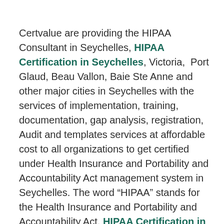Certvalue are providing the HIPAA Consultant in Seychelles, HIPAA Certification in Seychelles, Victoria, Port Glaud, Beau Vallon, Baie Ste Anne and other major cities in Seychelles with the services of implementation, training, documentation, gap analysis, registration, Audit and templates services at affordable cost to all organizations to get certified under Health Insurance and Portability and Accountability Act management system in Seychelles. The word “HIPAA” stands for the Health Insurance and Portability and Accountability Act. HIPAA Certification in Seychelles enacted in 1996, this plays a major part at healthcare reform. The idea is about to ensure that the Health Insurance to make easily portable so that people didn’t lose their